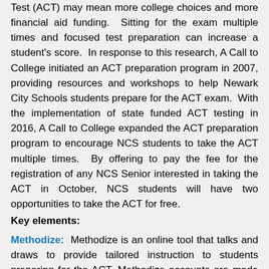Test (ACT) may mean more college choices and more financial aid funding.  Sitting for the exam multiple times and focused test preparation can increase a student's score.  In response to this research, A Call to College initiated an ACT preparation program in 2007, providing resources and workshops to help Newark City Schools students prepare for the ACT exam.  With the implementation of state funded ACT testing in 2016, A Call to College expanded the ACT preparation program to encourage NCS students to take the ACT multiple times.  By offering to pay the fee for the registration of any NCS Senior interested in taking the ACT in October, NCS students will have two opportunities to take the ACT for free.
Key elements:
Methodize:  Methodize is an online tool that talks and draws to provide tailored instruction to students preparing for the ACT. Methodize accounts are made available to every NCS student.
ACT Help Sessions: Offered to NCS juniors preparing for the